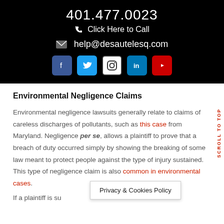401.477.0023
Click Here to Call
help@desautelesq.com
Environmental Negligence Claims
Environmental negligence lawsuits generally relate to claims of careless discharges of pollutants, such as this case from Maryland. Negligence per se, allows a plaintiff to prove that a breach of duty occurred simply by showing the breaking of some law meant to protect people against the type of injury sustained. This type of negligence claim is also common in environmental cases.
If a plaintiff is su
Privacy & Cookies Policy